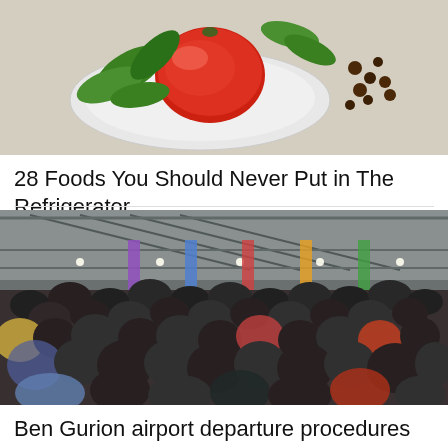[Figure (photo): A plate with a red tomato and fresh green basil leaves, with peppercorns scattered nearby on a woven surface]
28 Foods You Should Never Put in The Refrigerator
kiwiwell.com | Sponsored
[Figure (photo): A crowded airport departure hall at Ben Gurion airport, with many travelers wearing masks and colorful structural pillars visible in the background]
Ben Gurion airport departure procedures speed up